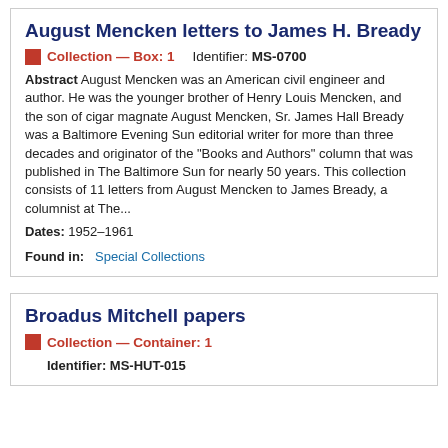August Mencken letters to James H. Bready
Collection — Box: 1    Identifier: MS-0700
Abstract August Mencken was an American civil engineer and author. He was the younger brother of Henry Louis Mencken, and the son of cigar magnate August Mencken, Sr. James Hall Bready was a Baltimore Evening Sun editorial writer for more than three decades and originator of the "Books and Authors" column that was published in The Baltimore Sun for nearly 50 years. This collection consists of 11 letters from August Mencken to James Bready, a columnist at The...
Dates: 1952-1961
Found in: Special Collections
Broadus Mitchell papers
Collection — Container: 1
Identifier: MS-HUT-015